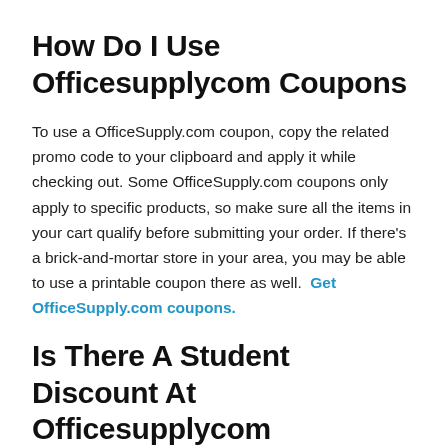How Do I Use Officesupplycom Coupons
To use a OfficeSupply.com coupon, copy the related promo code to your clipboard and apply it while checking out. Some OfficeSupply.com coupons only apply to specific products, so make sure all the items in your cart qualify before submitting your order. If there's a brick-and-mortar store in your area, you may be able to use a printable coupon there as well.  Get OfficeSupply.com coupons.
Is There A Student Discount At Officesupplycom
There is exciting news for students at OfficeSupply.com for